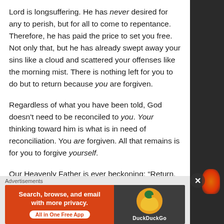Lord is longsuffering. He has never desired for any to perish, but for all to come to repentance. Therefore, he has paid the price to set you free. Not only that, but he has already swept away your sins like a cloud and scattered your offenses like the morning mist. There is nothing left for you to do but to return because you are forgiven.
Regardless of what you have been told, God doesn't need to be reconciled to you. Your thinking toward him is what is in need of reconciliation. You are forgiven. All that remains is for you to forgive yourself.
Our Heavenly Father is ever beckoning: “Return,
Advertisements
[Figure (screenshot): DuckDuckGo advertisement banner: orange left side with text 'Search, browse, and email with more privacy. All in One Free App' and dark right side with DuckDuckGo duck logo and brand name.]